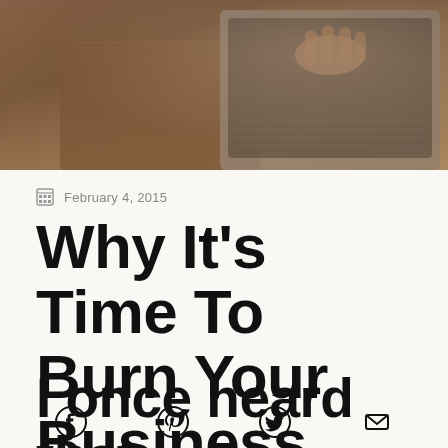[Figure (photo): Photo of a person's hands typing on a laptop on a wooden desk, viewed from above at an angle. Warm brown tones.]
February 4, 2015
Why It's Time To Burn Your Business Plan
I once heard that
Social share icons: Facebook, Pinterest, Twitter, Email